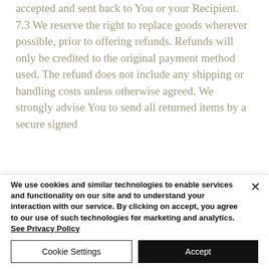accepted and sent back to You or your Recipient. 7.3 We reserve the right to replace goods wherever possible, prior to offering refunds. Refunds will only be credited to the original payment method used. The refund does not include any shipping or handling costs unless otherwise agreed. We strongly advise You to send all returned items by a secure signed
We use cookies and similar technologies to enable services and functionality on our site and to understand your interaction with our service. By clicking on accept, you agree to our use of such technologies for marketing and analytics. See Privacy Policy
Cookie Settings
Accept